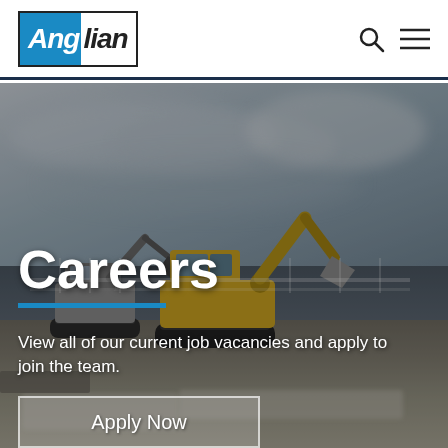[Figure (logo): Anglian company logo — 'Ang' in white on blue background, 'lian' in black, inside a rectangular border]
[Figure (photo): Construction site photo with yellow excavators/mini diggers operating on a rubble-strewn ground under an overcast grey sky]
Careers
View all of our current job vacancies and apply to join the team.
Apply Now